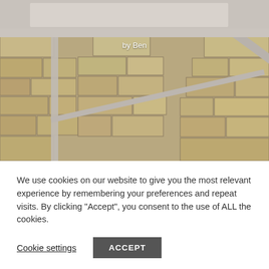[Figure (photo): Outdoor photo showing metal table/easel frame structure against a rustic stone wall background, with text 'by Ben' overlaid in white]
We use cookies on our website to give you the most relevant experience by remembering your preferences and repeat visits. By clicking “Accept”, you consent to the use of ALL the cookies.
Cookie settings
ACCEPT